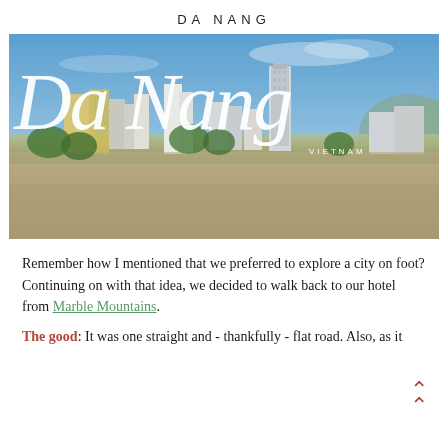DA NANG
[Figure (photo): Aerial/rooftop view of Da Nang city skyline, Vietnam, with modern high-rise buildings in background, dense urban housing in foreground, blue sky with light clouds. Large cursive script overlay reads 'Da Nang' in white, with 'VIETNAM' in small caps.]
Remember how I mentioned that we preferred to explore a city on foot? Continuing on with that idea, we decided to walk back to our hotel from Marble Mountains.
The good: It was one straight and - thankfully - flat road. Also, as it